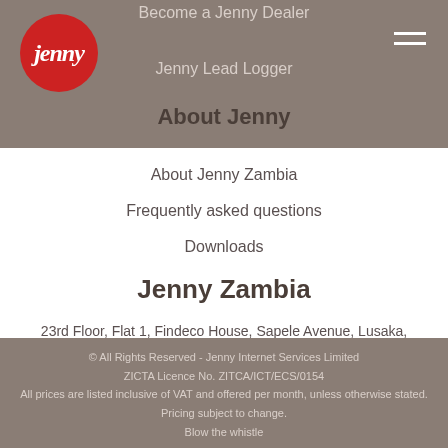Become a Jenny Dealer
[Figure (logo): Jenny brand logo — red circle with white italic 'jenny' text]
Jenny Lead Logger
About Jenny
About Jenny Zambia
Frequently asked questions
Downloads
Jenny Zambia
23rd Floor, Flat 1, Findeco House, Sapele Avenue, Lusaka, Lusaka Province, Zambia
© All Rights Reserved - Jenny Internet Services Limited
ZICTA Licence No. ZITCA/ICT/ECS/0154
All prices are listed inclusive of VAT and offered per month, unless otherwise stated. Pricing subject to change.
Blow the whistle